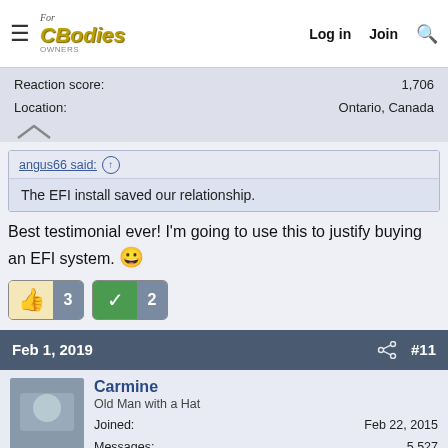For C Bodies Only | Log in | Join
Reaction score: 1,706
Location: Ontario, Canada
angus66 said: ↑
The EFI install saved our relationship.
Best testimonial ever! I'm going to use this to justify buying an EFI system. 😀
👍 3   ✓ 2
Feb 1, 2019  #11
Carmine
Old Man with a Hat
Joined: Feb 22, 2015
Messages: 5,527
Reaction score: 8,481
Location: Detroit 'burbs